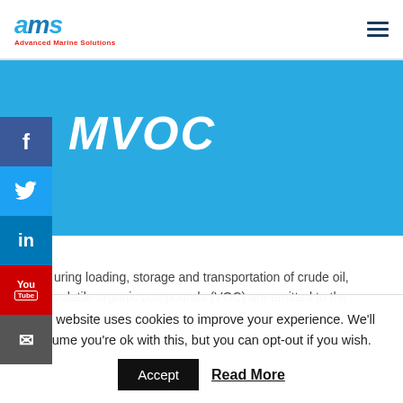AMS Advanced Marine Solutions
[Figure (logo): AMS Advanced Marine Solutions logo with blue stylized text and red subtitle]
MVOC
uring loading, storage and transportation of crude oil, volatile organic compounds (VOC) are emitted to the
This website uses cookies to improve your experience. We'll assume you're ok with this, but you can opt-out if you wish.